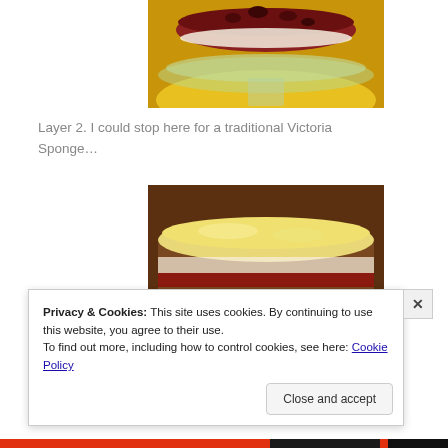[Figure (photo): Top portion of a glass cake stand with layered cake showing jam/berry filling, on a yellow surface, cropped at top of page]
Layer 2. I could stop here for a traditional Victoria Sponge...
[Figure (photo): A two-layer sponge cake with cream/buttercream frosting on top and visible jam layer in the middle, viewed from the side]
Privacy & Cookies: This site uses cookies. By continuing to use this website, you agree to their use.
To find out more, including how to control cookies, see here: Cookie Policy